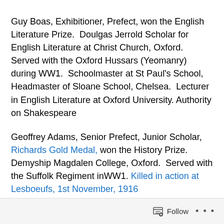Guy Boas, Exhibitioner, Prefect, won the English Literature Prize.  Doulgas Jerrold Scholar for English Literature at Christ Church, Oxford.  Served with the Oxford Hussars (Yeomanry) during WW1.  Schoolmaster at St Paul's School, Headmaster of Sloane School, Chelsea.  Lecturer in English Literature at Oxford University. Authority on Shakespeare
Geoffrey Adams, Senior Prefect, Junior Scholar, Richards Gold Medal, won the History Prize.  Demyship Magdalen College, Oxford.  Served with the Suffolk Regiment inWW1. Killed in action at Lesboeufs, 1st November, 1916
Roger Mackarness, played for the Cricket XI. Served in France during WW1.  At the English Speaking Union from
Follow ...